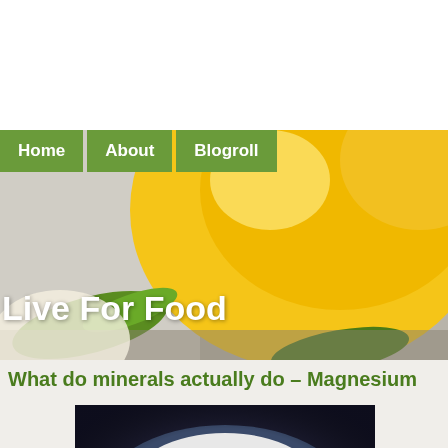Home | About | Blogroll
[Figure (photo): Close-up photo of citrus fruits (lemons/oranges) with green leaves on a light background]
Live For Food
What do minerals actually do – Magnesium
[Figure (photo): Close-up photo of a supplement bottle cap with 'Calcium' and 'Magnesium' text visible]